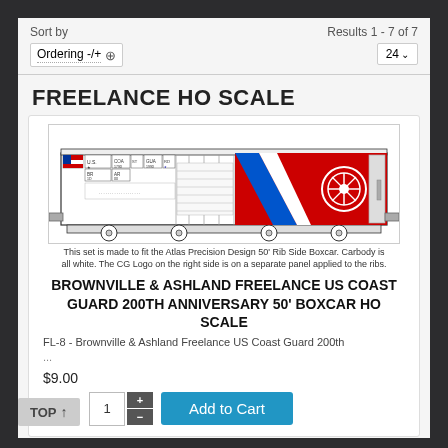Sort by
Ordering -/+
Results 1 - 7 of 7
24
FREELANCE HO SCALE
[Figure (illustration): Technical drawing of a US Coast Guard 50-foot rib side boxcar with red, white, and blue diagonal stripes and Coast Guard logo on the right side. Caption reads: This set is made to fit the Atlas Precision Design 50' Rib Side Boxcar. Carbody is all white. The CG Logo on the right side is on a separate panel applied to the ribs.]
This set is made to fit the Atlas Precision Design 50' Rib Side Boxcar. Carbody is all white. The CG Logo on the right side is on a separate panel applied to the ribs.
BROWNVILLE & ASHLAND FREELANCE US COAST GUARD 200TH ANNIVERSARY 50' BOXCAR HO SCALE
FL-8 - Brownville & Ashland Freelance US Coast Guard 200th
...
$9.00
1
Add to Cart
TOP ↑